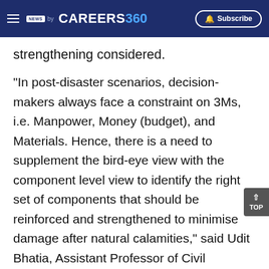NEWS by CAREERS360 | Subscribe
strengthening considered.
"In post-disaster scenarios, decision-makers always face a constraint on 3Ms, i.e. Manpower, Money (budget), and Materials. Hence, there is a need to supplement the bird-eye view with the component level view to identify the right set of components that should be reinforced and strengthened to minimise damage after natural calamities," said Udit Bhatia, Assistant Professor of Civil Engineering at IITGN.
Also Read |
IIT Madras researchers propose solutions for pollution problems of manufacturing firms